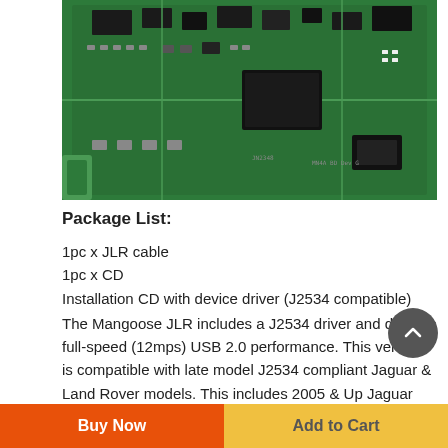[Figure (photo): Close-up photo of a green printed circuit board (PCB) with various electronic components, chips, and solder points visible. The board appears to be a JLR (Jaguar Land Rover) diagnostic cable interface board.]
Package List:
1pc x JLR cable
1pc x CD
Installation CD with device driver (J2534 compatible)
The Mangoose JLR includes a J2534 driver and delivers full-speed (12mps) USB 2.0 performance. This version is compatible with late model J2534 compliant Jaguar & Land Rover models. This includes 2005 & Up Jaguar and 2005 & up Land Rover, requires a subscription to IDS version 125 & up.
Buy Now | Add to Cart